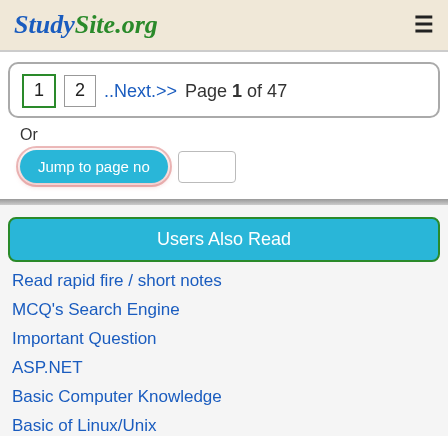StudySite.org
1  2  ..Next.>>  Page 1 of 47
Or
Jump to page no
Users Also Read
Read rapid fire / short notes
MCQ's Search Engine
Important Question
ASP.NET
Basic Computer Knowledge
Basic of Linux/Unix